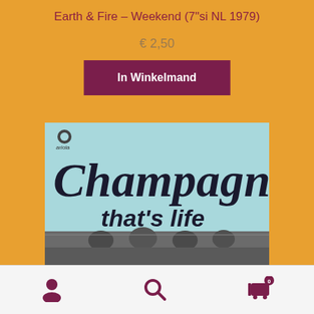Earth & Fire – Weekend (7"si NL 1979)
€ 2,50
In Winkelmand
[Figure (photo): Album cover of Champagne - That's life on Ariola label, showing the band members in a street setting with light blue/teal background]
[Figure (infographic): Footer navigation bar with person icon, search icon, and shopping cart icon with badge showing 0]